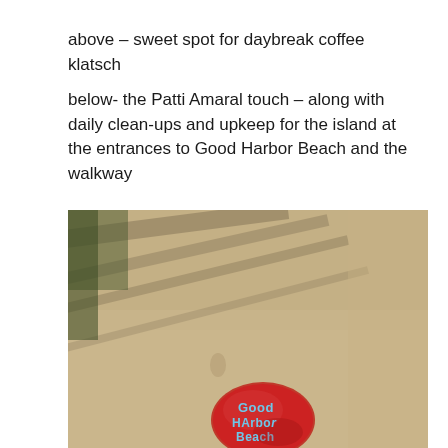above – sweet spot for daybreak coffee klatsch
below- the Patti Amaral touch – along with daily clean-ups and upkeep for the island at the entrances to Good Harbor Beach and the walkway
[Figure (photo): A sandy beach area with shadow lines across the sand, and a red painted rock in the lower center with 'Good Harbor Beach' written on it in light blue letters.]